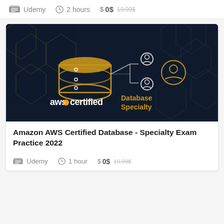Udemy   2 hours   $ 0$  19.99$
[Figure (illustration): AWS Certified Database Specialty course thumbnail: dark navy background with geometric hexagon pattern in gold, showing a database cylinder icon in gold connected to user icons, with text 'aws certified Database Specialty']
Amazon AWS Certified Database - Specialty Exam Practice 2022
Udemy   1 hour   $ 0$  19.99$